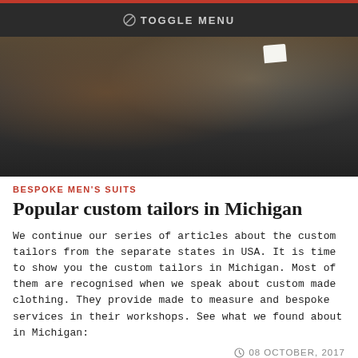TOGGLE MENU
[Figure (photo): Close-up photo of a man's torso wearing a dark charcoal bespoke suit with a patterned pocket square and decorative lapel pin, with an ornate fabric visible in the background.]
BESPOKE MEN'S SUITS
Popular custom tailors in Michigan
We continue our series of articles about the custom tailors from the separate states in USA. It is time to show you the custom tailors in Michigan. Most of them are recognised when we speak about custom made clothing. They provide made to measure and bespoke services in their workshops. See what we found about in Michigan:
08 OCTOBER, 2017
[Figure (photo): Photo of a dark brown bespoke suit on a mannequin in a tailor shop, with an ornate geometric patterned wall visible on the right side.]